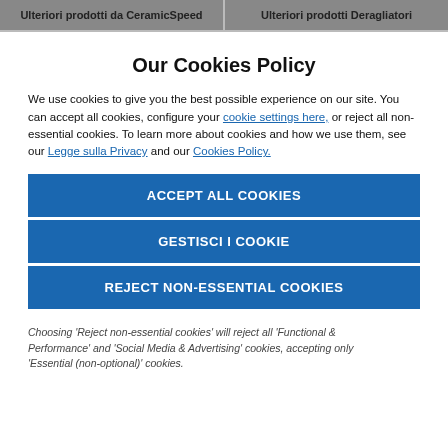Ulteriori prodotti da CeramicSpeed | Ulteriori prodotti Deragliatori
Our Cookies Policy
We use cookies to give you the best possible experience on our site. You can accept all cookies, configure your cookie settings here, or reject all non-essential cookies. To learn more about cookies and how we use them, see our Legge sulla Privacy and our Cookies Policy.
ACCEPT ALL COOKIES
GESTISCI I COOKIE
REJECT NON-ESSENTIAL COOKIES
Choosing 'Reject non-essential cookies' will reject all 'Functional & Performance' and 'Social Media & Advertising' cookies, accepting only 'Essential (non-optional)' cookies.